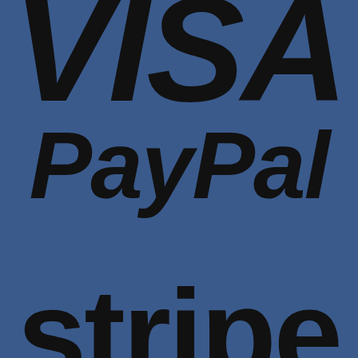[Figure (logo): VISA logo in large bold italic black text on a dark blue background]
[Figure (logo): PayPal logo in large bold italic black text on a dark blue background]
[Figure (logo): stripe logo in large bold black text on a dark blue background, with a dot above the letter i]